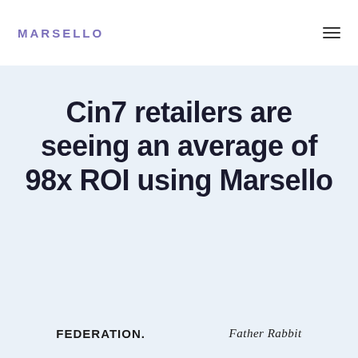MARSELLO
Cin7 retailers are seeing an average of 98x ROI using Marsello
[Figure (logo): FEDERATION. logo in bold black uppercase text]
[Figure (logo): Father Rabbit logo in serif italic font]